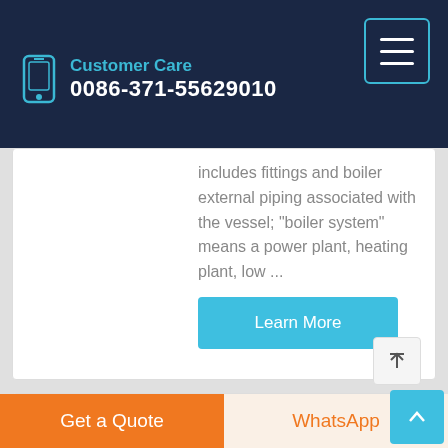Customer Care 0086-371-55629010
includes fittings and boiler external piping associated with the vessel; "boiler system" means a power plant, heating plant, low ...
Learn More
[Figure (photo): Industrial boiler/piping equipment photo]
1 03mpa power plant boiler Agent for rice mills
Get a Quote
WhatsApp